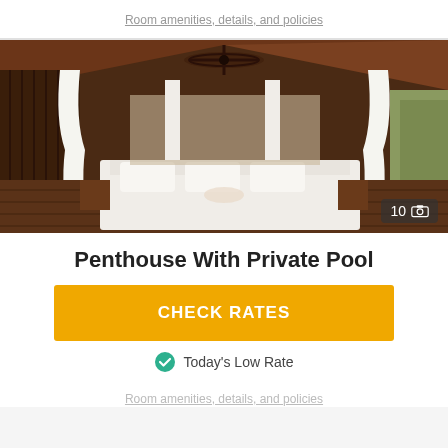Room amenities, details, and policies
[Figure (photo): Luxury resort penthouse bedroom with canopy bed, white draping curtains, wooden ceiling with ceiling fan, warm tropical interior design]
Penthouse With Private Pool
CHECK RATES
Today's Low Rate
Room amenities, details, and policies